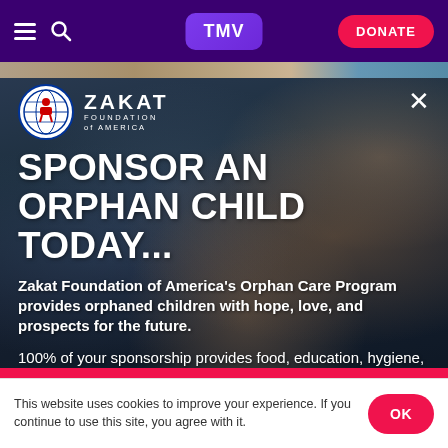TMV DONATE
[Figure (photo): Background photo of smiling children with overlaid text for Zakat Foundation of America orphan sponsorship advertisement]
SPONSOR AN ORPHAN CHILD TODAY...
Zakat Foundation of America's Orphan Care Program provides orphaned children with hope, love, and prospects for the future.
100% of your sponsorship provides food, education, hygiene, and other urgent aid to the child.
This website uses cookies to improve your experience. If you continue to use this site, you agree with it.